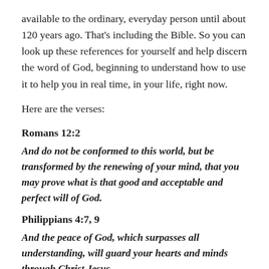available to the ordinary, everyday person until about 120 years ago. That's including the Bible. So you can look up these references for yourself and help discern the word of God, beginning to understand how to use it to help you in real time, in your life, right now.
Here are the verses:
Romans 12:2
And do not be conformed to this world, but be transformed by the renewing of your mind, that you may prove what is that good and acceptable and perfect will of God.
Philippians 4:7, 9
And the peace of God, which surpasses all understanding, will guard your hearts and minds through Christ Jesus. ...